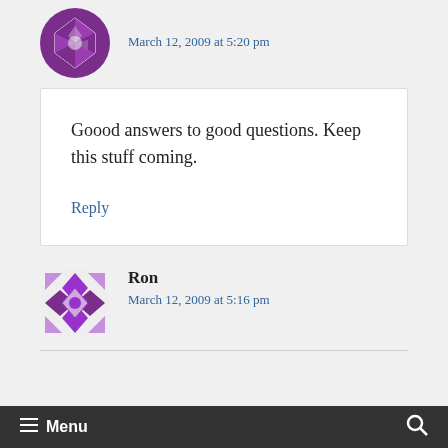[Figure (logo): Purple quilt-pattern avatar icon (top, partially visible)]
March 12, 2009 at 5:20 pm
Goood answers to good questions. Keep this stuff coming.
Reply
[Figure (logo): Purple quilt-pattern avatar icon for Ron]
Ron
March 12, 2009 at 5:16 pm
≡ Menu  🔍